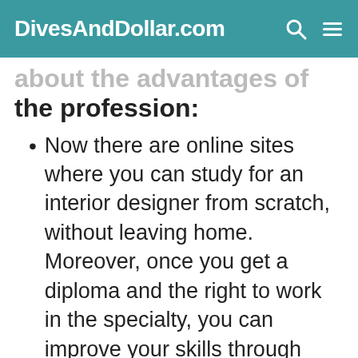DivesAndDollar.com
about the advantages of the profession:
Now there are online sites where you can study for an interior designer from scratch, without leaving home. Moreover, once you get a diploma and the right to work in the specialty, you can improve your skills through webinars and lectures by leading masters from around the world. Not every profession has as many